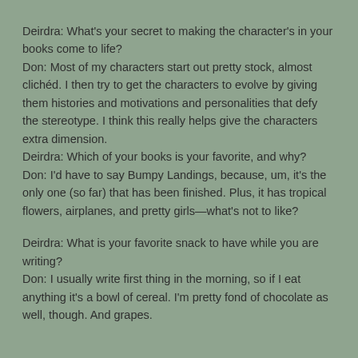Deirdra: What's your secret to making the character's in your books come to life?
Don: Most of my characters start out pretty stock, almost clichéd. I then try to get the characters to evolve by giving them histories and motivations and personalities that defy the stereotype. I think this really helps give the characters extra dimension.
Deirdra: Which of your books is your favorite, and why?
Don: I'd have to say Bumpy Landings, because, um, it's the only one (so far) that has been finished. Plus, it has tropical flowers, airplanes, and pretty girls—what's not to like?
Deirdra: What is your favorite snack to have while you are writing?
Don: I usually write first thing in the morning, so if I eat anything it's a bowl of cereal. I'm pretty fond of chocolate as well, though. And grapes.